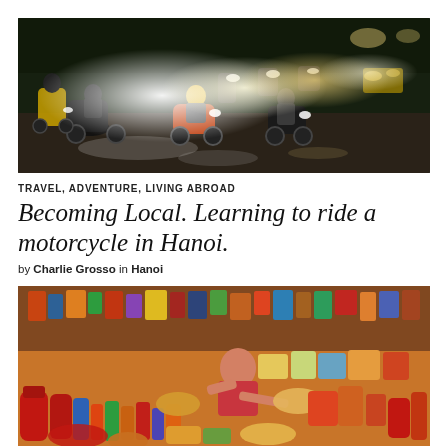[Figure (photo): Night street scene in Hanoi with motorcycles and scooters driving with headlights on, cars in background, wet road reflecting lights]
TRAVEL, ADVENTURE, LIVING ABROAD
Becoming Local. Learning to ride a motorcycle in Hanoi.
by Charlie Grosso in Hanoi
[Figure (photo): Outdoor market stall in Hanoi with a vendor surrounded by bottles of sauces, condiments, packaged goods and various products piled high]